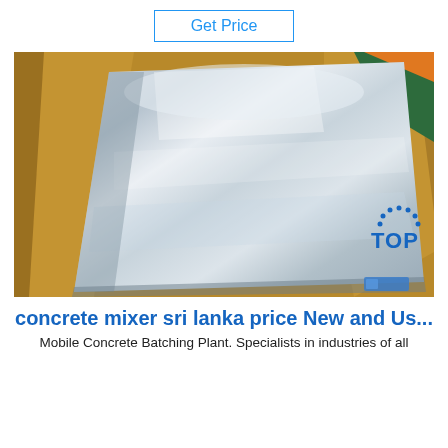Get Price
[Figure (photo): A shiny metallic steel sheet lying flat, surrounded by brown cardboard packaging material and a green textile in the background.]
[Figure (logo): TOP logo with blue dots arranged in a semicircle above the text TOP in blue.]
concrete mixer sri lanka price New and Us...
Mobile Concrete Batching Plant. Specialists in industries of all